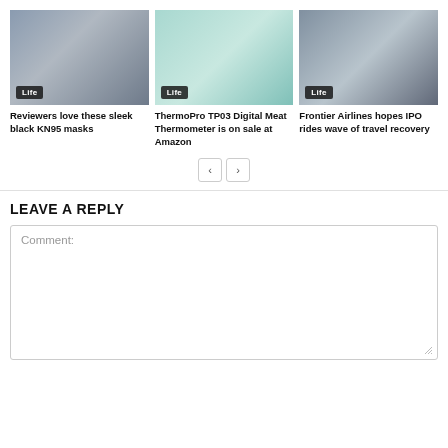[Figure (photo): Woman wearing white KN95 mask on a city street with Life badge overlay]
Reviewers love these sleek black KN95 masks
[Figure (photo): ThermoPro TP03 digital meat thermometer on teal background with Life badge overlay]
ThermoPro TP03 Digital Meat Thermometer is on sale at Amazon
[Figure (photo): Frontier Airlines airplane on runway with Life badge overlay]
Frontier Airlines hopes IPO rides wave of travel recovery
LEAVE A REPLY
Comment: